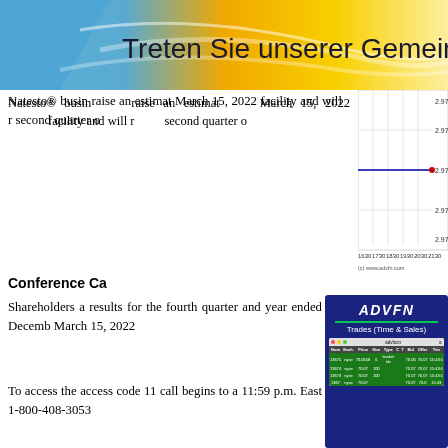[Figure (other): Banner with gradient background (blue to gold) and German text 'Treten Sie unserer Gemeinschaft bei']
Natesto® business, raise an estimated March 15, 2022, facility and will result in the second quarter of
[Figure (continuous-plot): Line chart showing flat price line at 2.97 with x-axis labels 1630, 1730, 1830, 1930, 2030, 2130 and y-axis values 2.97 repeated. Attribution: (c) www.advfn.com]
Conference Call
Shareholders and results for the fourth quarter and year ended December March 15, 2022
To access the access code 11 call begins to a 11:59 p.m. East 1-800-408-3053
[Figure (screenshot): ADVFN Trades (Time & Sales) advertisement overlay showing dark blue box with ADVFN logo, subtitle 'Trades (Time & Sales)', and a screenshot of a trading table with columns Num, Exch., Price, Size, Type, C, T, Bid, Offer, Tim. Rows show trade data for nyse at prices around 70.06-70.07.]
About Accru